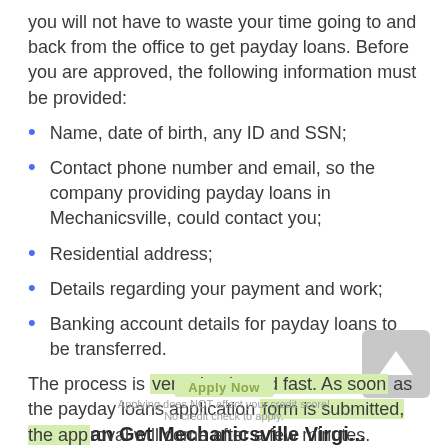you will not have to waste your time going to and back from the office to get payday loans. Before you are approved, the following information must be provided:
Name, date of birth, any ID and SSN;
Contact phone number and email, so the company providing payday loans in Mechanicsville, could contact you;
Residential address;
Details regarding your payment and work;
Banking account details forpayday loansto be transferred.
The process is very simple and fast. As soon as the payday loans application form is submitted, the approval will come after a few minutes.
Applying does NOT affect your credit score! No credit check to apply.
Why Can Get Mechanicsville Virginia Payday...